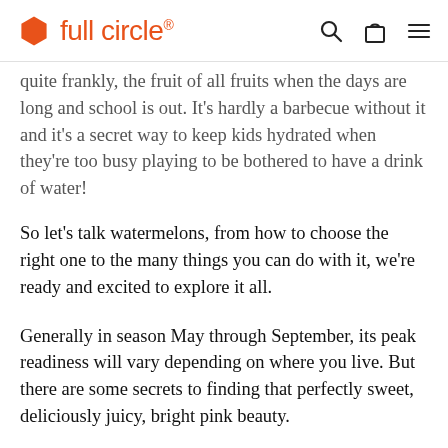full circle®
quite frankly, the fruit of all fruits when the days are long and school is out. It's hardly a barbecue without it and it's a secret way to keep kids hydrated when they're too busy playing to be bothered to have a drink of water!
So let's talk watermelons, from how to choose the right one to the many things you can do with it, we're ready and excited to explore it all.
Generally in season May through September, its peak readiness will vary depending on where you live. But there are some secrets to finding that perfectly sweet, deliciously juicy, bright pink beauty.
So when choosing a watermelon, follow these